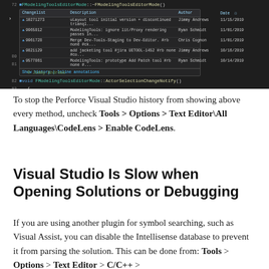[Figure (screenshot): Screenshot of Visual Studio code editor showing C++ code with FModelingToolsEditorMode destructor and ActorSelectionChangeNotify method. An annotation popup displays a Perforce changelist history table with columns: Changelist, Description, Author, Date. Entries include changelists 10271273, 9965812, 9961728, 9821129, 9577861 with dates ranging from 10/14/2019 to 11/15/2019.]
To stop the Perforce Visual Studio history from showing above every method, uncheck Tools > Options > Text Editor\All Languages\CodeLens > Enable CodeLens.
Visual Studio Is Slow when Opening Solutions or Debugging
If you are using another plugin for symbol searching, such as Visual Assist, you can disable the Intellisense database to prevent it from parsing the solution. This can be done from: Tools > Options > Text Editor > C/C++ >